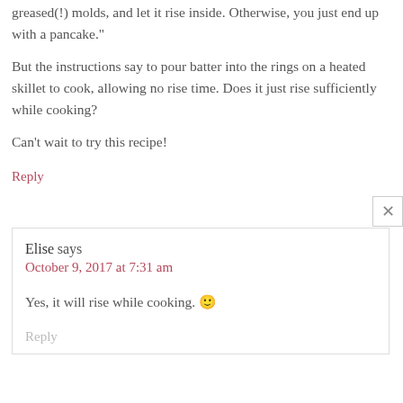greased(!) molds, and let it rise inside. Otherwise, you just end up with a pancake."
But the instructions say to pour batter into the rings on a heated skillet to cook, allowing no rise time. Does it just rise sufficiently while cooking?
Can't wait to try this recipe!
Reply
Elise says
October 9, 2017 at 7:31 am
Yes, it will rise while cooking. 🙂
Reply